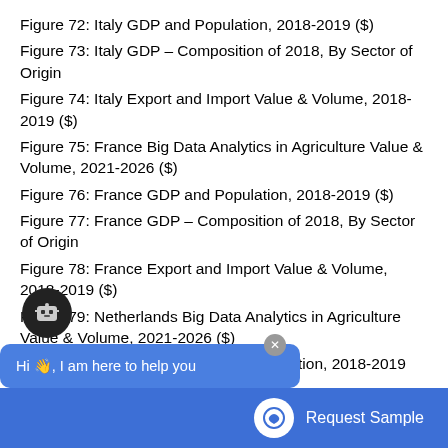Figure 72: Italy GDP and Population, 2018-2019 ($)
Figure 73: Italy GDP – Composition of 2018, By Sector of Origin
Figure 74: Italy Export and Import Value & Volume, 2018-2019 ($)
Figure 75: France Big Data Analytics in Agriculture Value & Volume, 2021-2026 ($)
Figure 76: France GDP and Population, 2018-2019 ($)
Figure 77: France GDP – Composition of 2018, By Sector of Origin
Figure 78: France Export and Import Value & Volume, 2018-2019 ($)
Figure 79: Netherlands Big Data Analytics in Agriculture Value & Volume, 2021-2026 ($)
Figure 80: Netherlands GDP and Population, 2018-2019